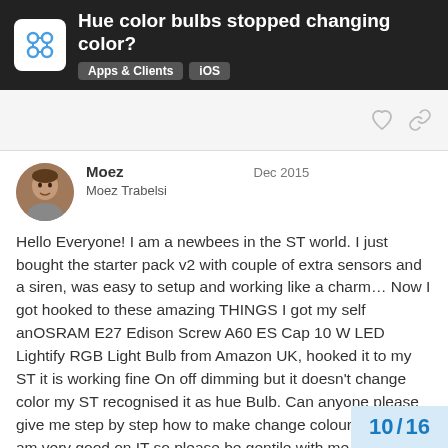Hue color bulbs stopped changing color? Apps & Clients  iOS
Moez  Dec 2015
Moez Trabelsi
Hello Everyone! I am a newbees in the ST world. I just bought the starter pack v2 with couple of extra sensors and a siren, was easy to setup and working like a charm… Now I got hooked to these amazing THINGS I got my self anOSRAM E27 Edison Screw A60 ES Cap 10 W LED Lightify RGB Light Bulb from Amazon UK, hooked it to my ST it is working fine On off dimming but it doesn't change color my ST recognised it as hue Bulb. Can anyone please give me step by step how to make change colours? As said I am very good on IT so please be gentile with me 😉 thanks guys
10 / 16